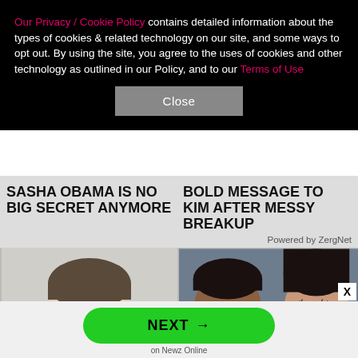Our Privacy / Cookie Policy contains detailed information about the types of cookies & related technology on our site, and some ways to opt out. By using the site, you agree to the uses of cookies and other technology as outlined in our Policy, and to our Terms of Use
Close
SASHA OBAMA IS NO BIG SECRET ANYMORE
BOLD MESSAGE TO KIM AFTER MESSY BREAKUP
Powered by ZergNet
[Figure (photo): Photo of a young white boy in formal attire, looking at camera]
[Figure (photo): Photo of a Black man in a tuxedo and a woman with glamorous makeup]
NEXT →
on Newz Online